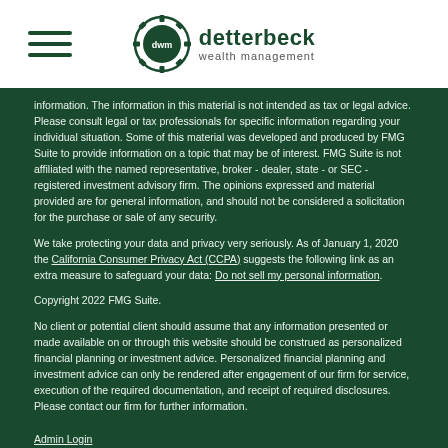detterbeck wealth management
information. The information in this material is not intended as tax or legal advice. Please consult legal or tax professionals for specific information regarding your individual situation. Some of this material was developed and produced by FMG Suite to provide information on a topic that may be of interest. FMG Suite is not affiliated with the named representative, broker - dealer, state - or SEC - registered investment advisory firm. The opinions expressed and material provided are for general information, and should not be considered a solicitation for the purchase or sale of any security.
We take protecting your data and privacy very seriously. As of January 1, 2020 the California Consumer Privacy Act (CCPA) suggests the following link as an extra measure to safeguard your data: Do not sell my personal information.
Copyright 2022 FMG Suite.
No client or potential client should assume that any information presented or made available on or through this website should be construed as personalized financial planning or investment advice. Personalized financial planning and investment advice can only be rendered after engagement of our firm for service, execution of the required documentation, and receipt of required disclosures. Please contact our firm for further information.
Admin Login